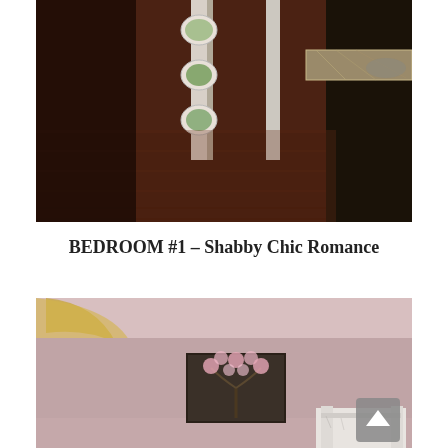[Figure (photo): Interior photo showing a hallway/kitchen area with dark hardwood floors, a white door frame with decorative plates, and a granite countertop with dark cabinets visible on the right side.]
BEDROOM #1 – Shabby Chic Romance
[Figure (photo): Bedroom photo with dusty pink/mauve walls, ornate gold-framed mirror, a canvas painting of a blossoming tree, and a white distressed headboard visible at the bottom. A gray scroll-to-top button overlay appears in the bottom right corner.]